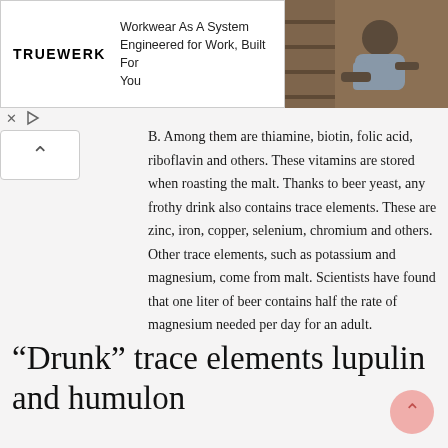[Figure (photo): Advertisement banner for TRUEWERK workwear brand with logo and text 'Workwear As A System Engineered for Work, Built For You', with a photo of a man in work clothes on the right]
B. Among them are thiamine, biotin, folic acid, riboflavin and others. These vitamins are stored when roasting the malt. Thanks to beer yeast, any frothy drink also contains trace elements. These are zinc, iron, copper, selenium, chromium and others. Other trace elements, such as potassium and magnesium, come from malt. Scientists have found that one liter of beer contains half the rate of magnesium needed per day for an adult.
“Drunk” trace elements lupulin and humulon